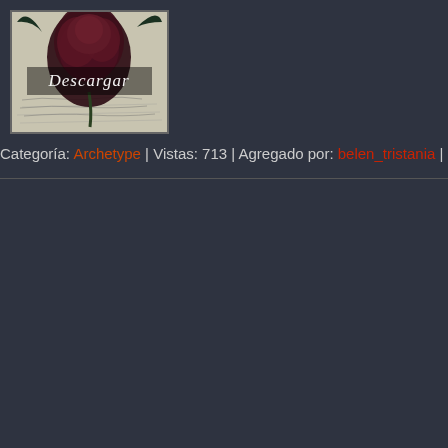[Figure (photo): Thumbnail image of a dark red/black rose on a handwritten letter background with the text 'Descargar' overlaid in gothic font]
Categoría: Archetype | Vistas: 713 | Agregado por: belen_tristania | Fecha: 15.Jan.20